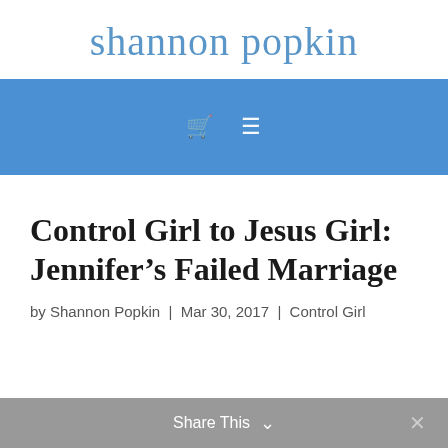shannon popkin
[Figure (other): Navigation bar with shopping cart icon and hamburger menu icon on blue background]
Control Girl to Jesus Girl: Jennifer’s Failed Marriage
by Shannon Popkin | Mar 30, 2017 | Control Girl
Share This ⌄ ×